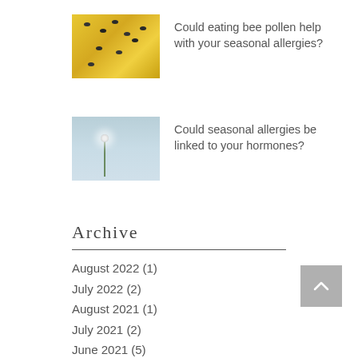[Figure (photo): Thumbnail image of bee pollen — yellow background with dark bee/seed shapes]
Could eating bee pollen help with your seasonal allergies?
[Figure (photo): Thumbnail image of a dandelion seed head against a light blue-grey background]
Could seasonal allergies be linked to your hormones?
Archive
August 2022 (1)
July 2022 (2)
August 2021 (1)
July 2021 (2)
June 2021 (5)
May 2021 (1)
April 2021 (6)